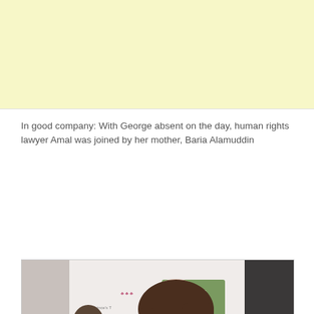[Figure (other): Yellow/cream advertisement banner placeholder at top of page]
In good company: With George absent on the day, human rights lawyer Amal was joined by her mother, Baria Alamuddin
[Figure (photo): Photo of a young brunette woman in a dark blazer at an event backdrop featuring Prince's Trust and HomeSense logos. A back-to-top arrow button appears in bottom right corner.]